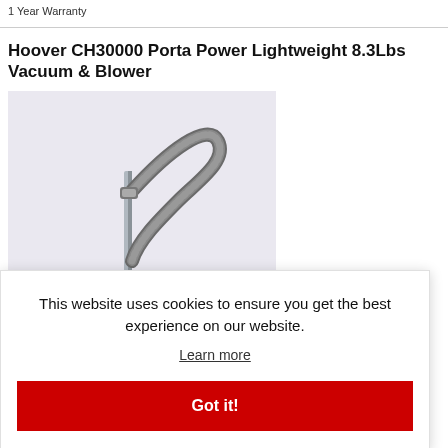1 Year Warranty
Hoover CH30000 Porta Power Lightweight 8.3Lbs Vacuum & Blower
[Figure (photo): Product photo of Hoover CH30000 Porta Power vacuum cleaner with flexible hose on light lavender/purple background]
ce: $149  subject to change  be honored.  y: Usually b  ss day.  New In Bo
This website uses cookies to ensure you get the best experience on our website.
Learn more
Got it!
& Blower